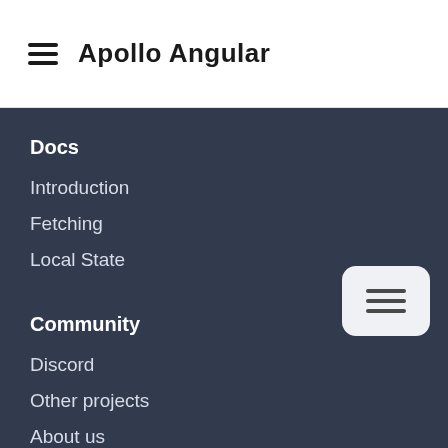Apollo Angular
Docs
Introduction
Fetching
Local State
Community
Discord
Other projects
About us
Community Meetings